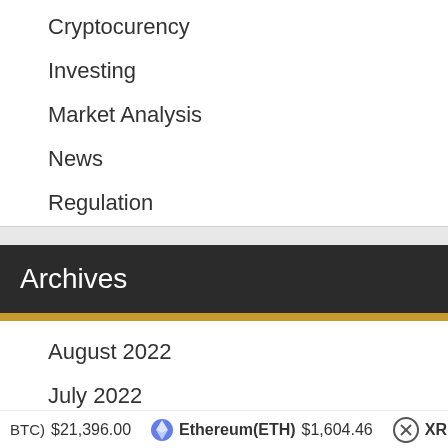Cryptocurency
Investing
Market Analysis
News
Regulation
Archives
August 2022
July 2022
June 2022
BTC) $21,396.00   Ethereum(ETH) $1,604.46   XRP(XRP) $0.3